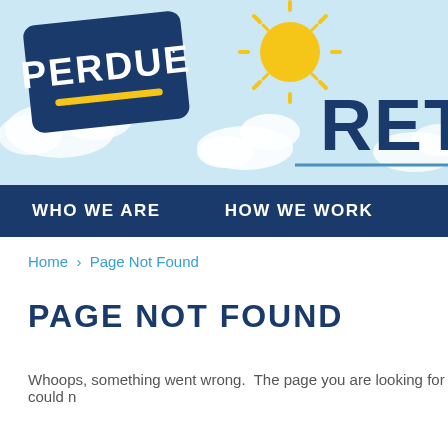[Figure (screenshot): Perdue Farms retail website header with Perdue logo (dark blue rounded rectangle with yellow underline), sun illustration, clouds, and partial 'RETA' text on light blue sky background]
WHO WE ARE   HOW WE WORK
Home > Page Not Found
PAGE NOT FOUND
Whoops, something went wrong.  The page you are looking for could n